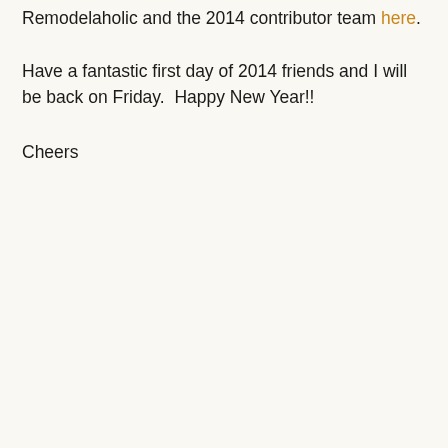Remodelaholic and the 2014 contributor team here.
Have a fantastic first day of 2014 friends and I will be back on Friday.  Happy New Year!!
Cheers